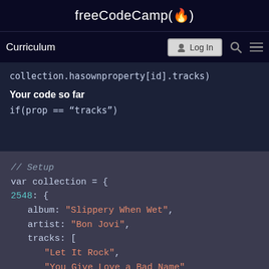freeCodeCamp(🔥)
Curriculum  Log In
collection.hasownproperty[id].tracks)
Your code so far
if(prop == "tracks")
[Figure (screenshot): Code editor showing JavaScript setup with var collection = { 2548: { album: "Slippery When Wet", artist: "Bon Jovi", tracks: [ "Let It Rock", "You Give Love a Bad Name" ] }]